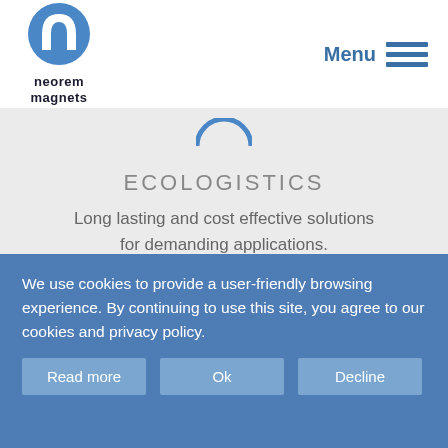[Figure (logo): Neorem Magnets logo: blue circle with arch/magnet shape and company name text below]
[Figure (other): Hamburger menu icon with Menu label in blue]
[Figure (other): Partial blue circle icon (top of ecologistics section, partially cropped)]
ECOLOGISTICS
Long lasting and cost effective solutions for demanding applications.
[Figure (illustration): Gray icon of desktop monitor and laptop/tablet computers stacked]
We use cookies to provide a user-friendly browsing experience. By continuing to use this site, you agree to our cookies and privacy policy.
Read more
Ok
Decline